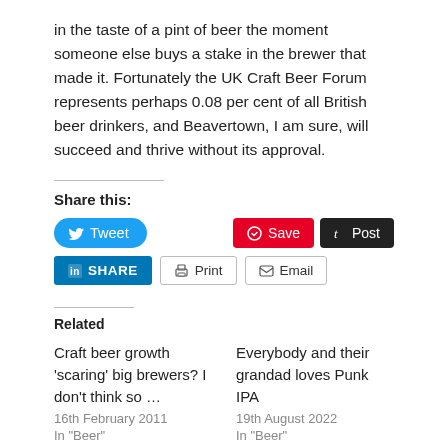in the taste of a pint of beer the moment someone else buys a stake in the brewer that made it. Fortunately the UK Craft Beer Forum represents perhaps 0.08 per cent of all British beer drinkers, and Beavertown, I am sure, will succeed and thrive without its approval.
Share this:
Tweet | Save | Post | SHARE | Print | Email
Related
Craft beer growth ‘scaring’ big brewers? I don’t think so …
16th February 2011
In "Beer"
Everybody and their grandad loves Punk IPA
19th August 2022
In "Beer"
BrewDog couldn’t be more